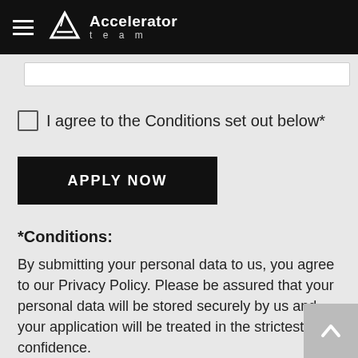Accelerator team
I agree to the Conditions set out below*
APPLY NOW
*Conditions:
By submitting your personal data to us, you agree to our Privacy Policy. Please be assured that your personal data will be stored securely by us and your application will be treated in the strictest confidence.